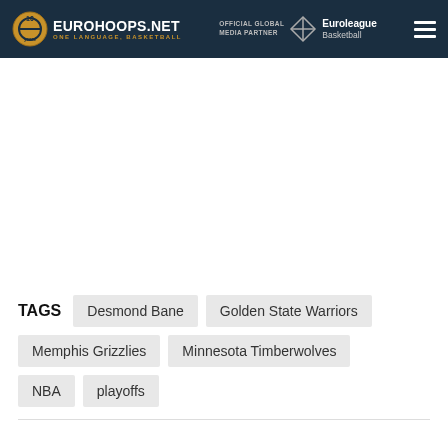EUROHOOPS.NET – ONE LANGUAGE, BASKETBALL – OFFICIAL GLOBAL MEDIA PARTNER Euroleague Basketball
TAGS  Desmond Bane  Golden State Warriors  Memphis Grizzlies  Minnesota Timberwolves  NBA  playoffs